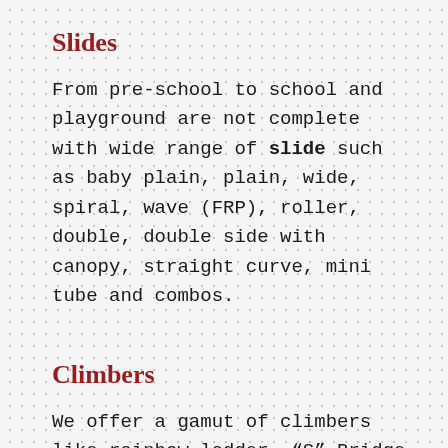Slides
From pre-school to school and playground are not complete with wide range of slide such as baby plain, plain, wide, spiral, wave (FRP), roller, double, double side with canopy, straight curve, mini tube and combos.
Climbers
We offer a gamut of climbers like rainbow ladder, “S” Bridge ladder, Satellite Climber, moon, giraffe, straight net, loop rung, sunset, spiral, A to B, Sea Monster, Criss